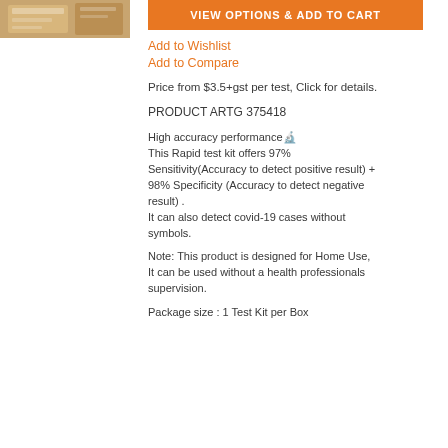[Figure (photo): Product image of a test kit box with wood-grain background]
VIEW OPTIONS & ADD TO CART
Add to Wishlist
Add to Compare
Price from $3.5+gst per test, Click for details.
PRODUCT ARTG 375418
High accuracy performance
This Rapid test kit offers 97% Sensitivity(Accuracy to detect positive result) + 98% Specificity (Accuracy to detect negative result) .
It can also detect covid-19 cases without symbols.
Note: This product is designed for Home Use, It can be used without a health professionals supervision.
Package size : 1 Test Kit per Box